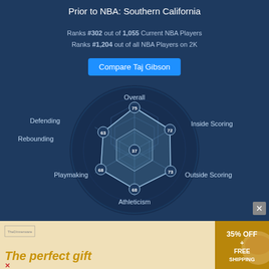Prior to NBA: Southern California
Ranks #302 out of 1,055 Current NBA Players
Ranks #1,204 out of all NBA Players on 2K
Compare Taj Gibson
[Figure (radar-chart): Radar/spider chart showing Taj Gibson NBA 2K stats. Center value 37. Categories: Overall=75, Inside Scoring=72, Outside Scoring=73, Athleticism=68, Playmaking=68, Rebounding=68, Defending=63. Background shows Washington Wizards logo.]
[Figure (photo): Advertisement banner: The perfect gift - food bowl image with navigation arrows and 35% OFF + FREE SHIPPING offer]